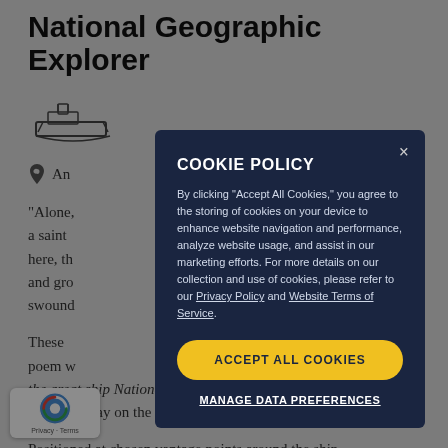National Geographic Explorer
[Figure (illustration): Ship/ferry icon outline illustration]
An...
"Alone, ...never a saint ...s here, th...cked and gro... swound...
These ...r, a poem w...omes ...the great ship National Geographic Explorer ...to Kayak Bay on the ice continent of Antarctica.
Positioned at chosen vantage points around the ship...
COOKIE POLICY
By clicking "Accept All Cookies," you agree to the storing of cookies on your device to enhance website navigation and performance, analyze website usage, and assist in our marketing efforts. For more details on our collection and use of cookies, please refer to our Privacy Policy and Website Terms of Service.
ACCEPT ALL COOKIES
MANAGE DATA PREFERENCES
[Figure (logo): Google reCAPTCHA badge with Privacy and Terms links]